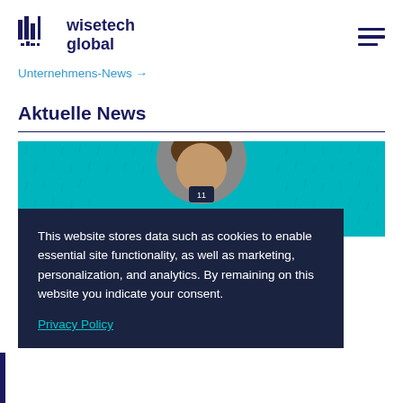wisetech global
Unternehmens-News →
Aktuelle News
[Figure (photo): Teal patterned background with a circular photo of a person with curly hair, partially visible at the top.]
This website stores data such as cookies to enable essential site functionality, as well as marketing, personalization, and analytics. By remaining on this website you indicate your consent.
Privacy Policy